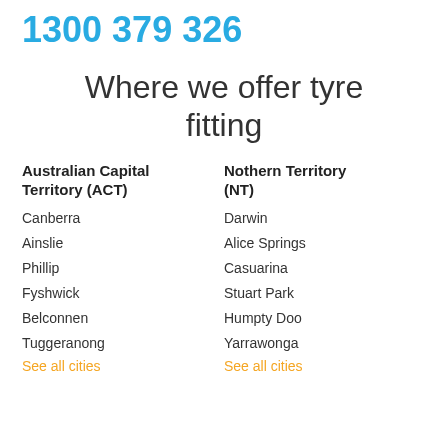1300 379 326
Where we offer tyre fitting
Australian Capital Territory (ACT)
Canberra
Ainslie
Phillip
Fyshwick
Belconnen
Tuggeranong
See all cities
Nothern Territory (NT)
Darwin
Alice Springs
Casuarina
Stuart Park
Humpty Doo
Yarrawonga
See all cities